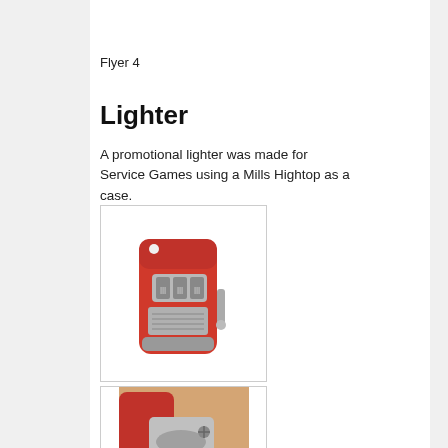Flyer 4
Lighter
A promotional lighter was made for Service Games using a Mills Hightop as a case.
[Figure (photo): A red miniature slot machine shaped lighter (Mills Hightop style) with chrome reels showing triple bars, side handle, and decorative front panel.]
[Figure (photo): The same red Mills Hightop lighter opened at the top, revealing the chrome lighter mechanism inside.]